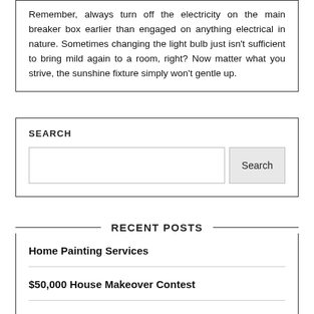Remember, always turn off the electricity on the main breaker box earlier than engaged on anything electrical in nature. Sometimes changing the light bulb just isn't sufficient to bring mild again to a room, right? Now matter what you strive, the sunshine fixture simply won't gentle up.
SEARCH
[Search input field and Search button]
RECENT POSTS
Home Painting Services
$50,000 House Makeover Contest